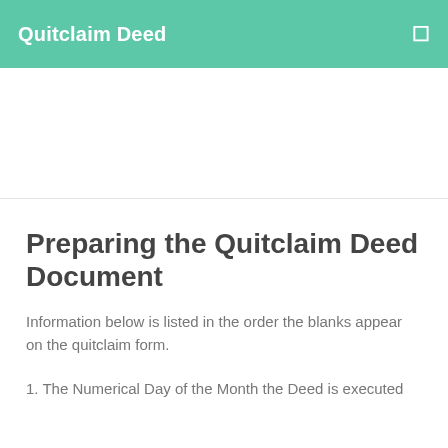Quitclaim Deed
Preparing the Quitclaim Deed Document
Information below is listed in the order the blanks appear on the quitclaim form.
1. The Numerical Day of the Month the Deed is executed